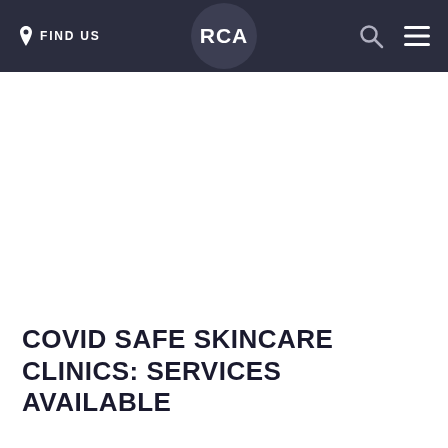FIND US  RCA
COVID SAFE SKINCARE CLINICS: SERVICES AVAILABLE